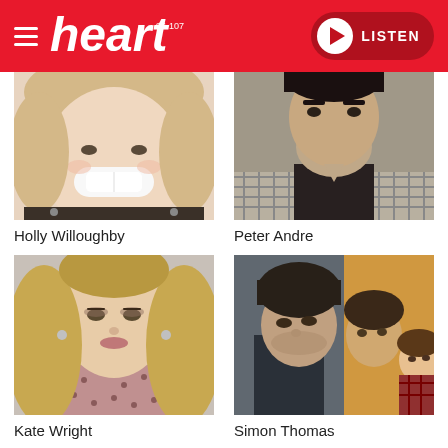heart 96-107 | LISTEN
[Figure (photo): Holly Willoughby - cropped photo showing smiling woman with blonde hair]
Holly Willoughby
[Figure (photo): Peter Andre - cropped photo showing man in dark shirt]
Peter Andre
[Figure (photo): Kate Wright - woman with long blonde hair in patterned top]
Kate Wright
[Figure (photo): Simon Thomas - two photos side by side, man looking sideways and family group selfie]
Simon Thomas